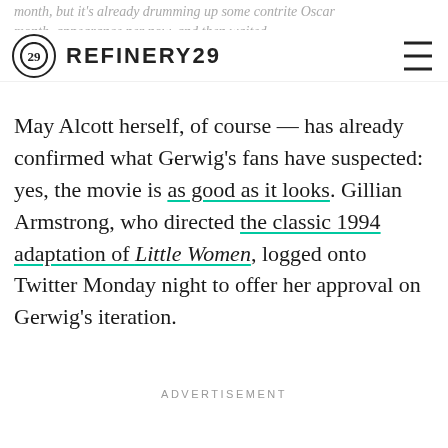REFINERY29
month, but it's already drumming up some contrite Oscar month, some appearance per now, and then waited
May Alcott herself, of course — has already confirmed what Gerwig's fans have suspected: yes, the movie is as good as it looks. Gillian Armstrong, who directed the classic 1994 adaptation of Little Women, logged onto Twitter Monday night to offer her approval on Gerwig's iteration.
ADVERTISEMENT